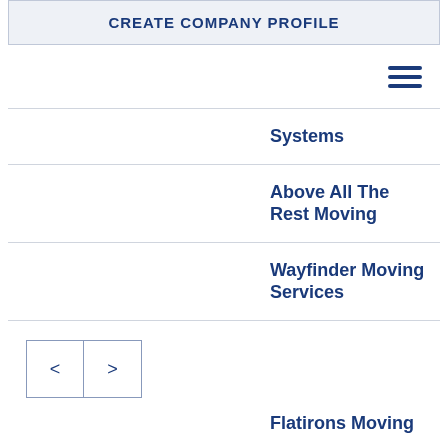CREATE COMPANY PROFILE
[Figure (other): Hamburger menu icon with three horizontal lines]
Systems
Above All The Rest Moving
Wayfinder Moving Services
[Figure (other): Pagination navigation buttons: < and >]
Flatirons Moving